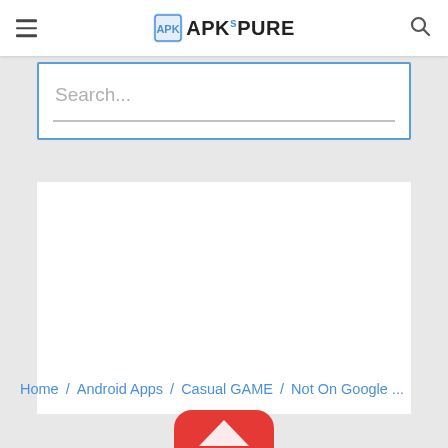APKsPURE
Search...
Home / Android Apps / Casual GAME / Not On Google ...
[Figure (logo): Partial red app icon visible at bottom of page]